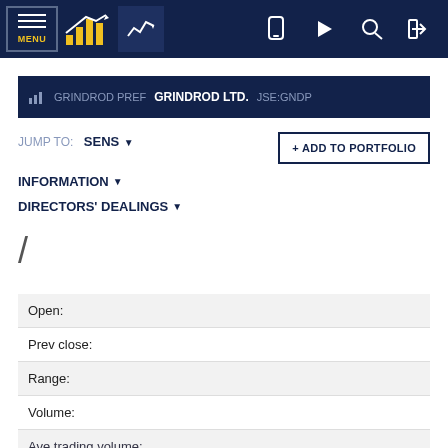[Figure (screenshot): Navigation bar with MENU, bar chart logo, line chart icon, and right-side icons for mobile, play, search, login]
GRINDROD PREF  GRINDROD LTD.  JSE:GNDP
JUMP TO: SENS ▾
+ ADD TO PORTFOLIO
INFORMATION ▾
DIRECTORS' DEALINGS ▾
/
| Open: |
| Prev close: |
| Range: |
| Volume: |
| Ave trading volume: |